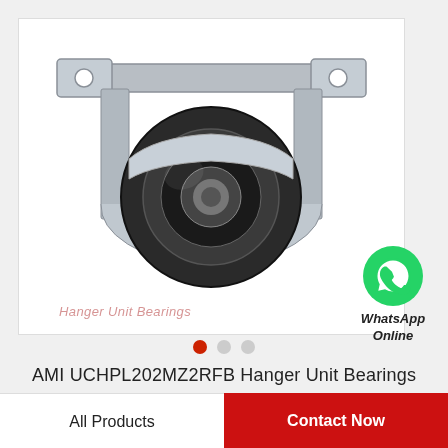[Figure (photo): AMI UCHPL202MZ2RFB hanger unit bearing — a metal bracket/hanger bearing assembly with a black rubber-sealed circular bearing housing mounted in a steel U-shaped bracket with mounting holes on each side.]
[Figure (logo): WhatsApp green circle icon with phone handset logo, labeled 'WhatsApp Online' in italic bold text below.]
Hanger Unit Bearings (watermark)
AMI UCHPL202MZ2RFB Hanger Unit Bearings
All Products
Contact Now